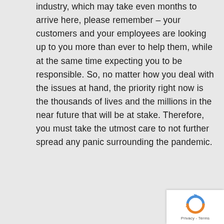industry, which may take even months to arrive here, please remember – your customers and your employees are looking up to you more than ever to help them, while at the same time expecting you to be responsible. So, no matter how you deal with the issues at hand, the priority right now is the thousands of lives and the millions in the near future that will be at stake. Therefore, you must take the utmost care to not further spread any panic surrounding the pandemic.
[Figure (other): reCAPTCHA widget box with spinning arrows logo and Privacy - Terms text]